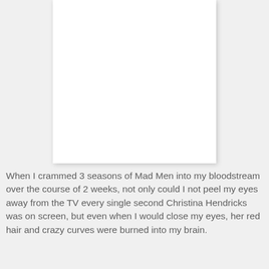[Figure (photo): A white rectangular image placeholder with a light drop shadow on a light gray background.]
When I crammed 3 seasons of Mad Men into my bloodstream over the course of 2 weeks, not only could I not peel my eyes away from the TV every single second Christina Hendricks was on screen, but even when I would close my eyes, her red hair and crazy curves were burned into my brain.